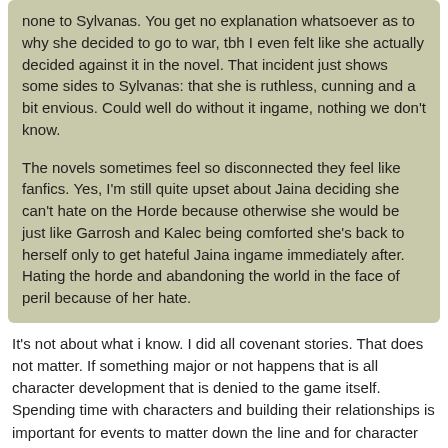none to Sylvanas. You get no explanation whatsoever as to why she decided to go to war, tbh I even felt like she actually decided against it in the novel. That incident just shows some sides to Sylvanas: that she is ruthless, cunning and a bit envious. Could well do without it ingame, nothing we don't know.
The novels sometimes feel so disconnected they feel like fanfics. Yes, I'm still quite upset about Jaina deciding she can't hate on the Horde because otherwise she would be just like Garrosh and Kalec being comforted she's back to herself only to get hateful Jaina ingame immediately after. Hating the horde and abandoning the world in the face of peril because of her hate.
It's not about what i know. I did all covenant stories. That does not matter. If something major or not happens that is all character development that is denied to the game itself. Spending time with characters and building their relationships is important for events to matter down the line and for character decisions to make sense.
- - - Updated - - -
Originally Posted by Lilithvia
This just in, person thinks that something that has happened since TBC is happening, that the next expansion is already bad
Yes, it's ... further back the ... ow with the spe... vations off
[Figure (screenshot): Seamless food delivery advertisement banner showing pizza image, red Seamless logo, and ORDER NOW button with a close (X) button]